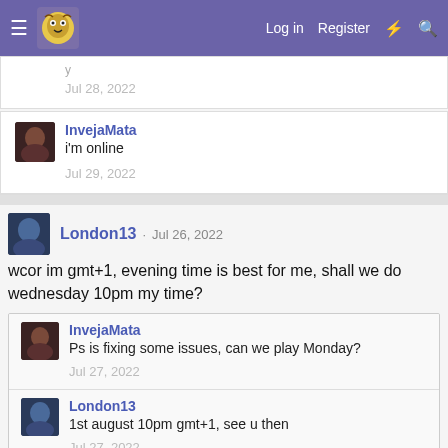Log in  Register
InvejaMata
i'm online
Jul 29, 2022
London13 · Jul 26, 2022
wcor im gmt+1, evening time is best for me, shall we do wednesday 10pm my time?
InvejaMata
Ps is fixing some issues, can we play Monday?
Jul 27, 2022
London13
1st august 10pm gmt+1, see u then
Jul 27, 2022